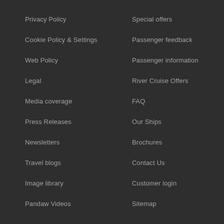Privacy Policy
Cookie Policy & Settings
Web Policy
Legal
Media coverage
Press Releases
Newsletters
Travel blogs
Image library
Pandaw Videos
Special offers
Passenger feedback
Passenger information
River Cruise Offers
FAQ
Our Ships
Brochures
Contact Us
Customer login
Sitemap